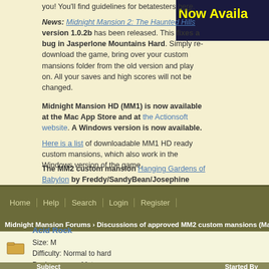you! You'll find guidelines for betatesters here.
News: Midnight Mansion 2: The Haunted Hills version 1.0.2b has been released. This fixes a bug in Jasperlone Mountains Hard. Simply re-download the game, bring over your custom mansions folder from the old version and play on. All your saves and high scores will not be changed.
Midnight Mansion HD (MM1) is now available at the Mac App Store and at the Actionsoft website. A Windows version is now available.
Here is a list of downloadable MM1 HD ready custom mansions, which also work in the Windows version of the game.
The MM2 custom mansion Hanging Gardens of Babylon by Freddy/SandyBean/Josephine was updated on 16 Feb 2014 to add a third section.
[Figure (screenshot): Now Available banner image in dark blue background with yellow text]
Home | Help | Search | Login | Register
Midnight Mansion Forums › Discussions of approved MM2 custom mansions (Mac or...
Acid Rock
Size: M
Difficulty: Normal to hard
Designer: aquaMat
Pages: 1
|  | Subject | Started By |
| --- | --- | --- |